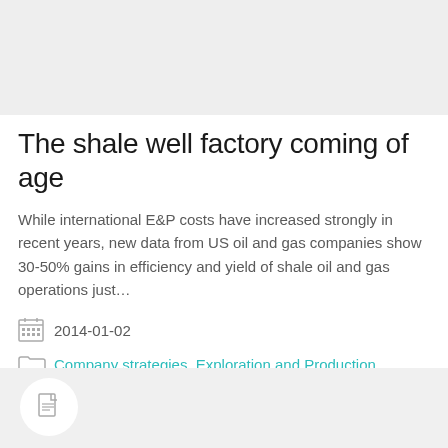[Figure (photo): Gray placeholder image area at the top of the page]
The shale well factory coming of age
While international E&P costs have increased strongly in recent years, new data from US oil and gas companies show 30-50% gains in efficiency and yield of shale oil and gas operations just…
2014-01-02
Company strategies, Exploration and Production, Shale resources
[Figure (illustration): Bottom card area with white circle containing a document icon]